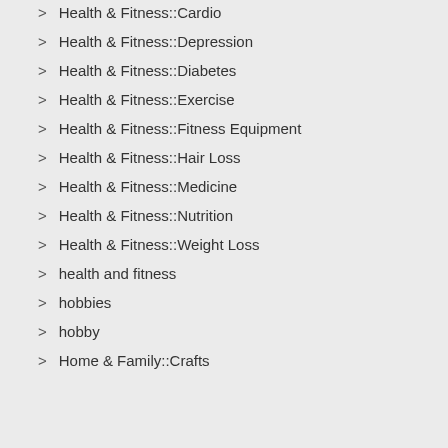Health & Fitness::Cardio
Health & Fitness::Depression
Health & Fitness::Diabetes
Health & Fitness::Exercise
Health & Fitness::Fitness Equipment
Health & Fitness::Hair Loss
Health & Fitness::Medicine
Health & Fitness::Nutrition
Health & Fitness::Weight Loss
health and fitness
hobbies
hobby
Home & Family::Crafts